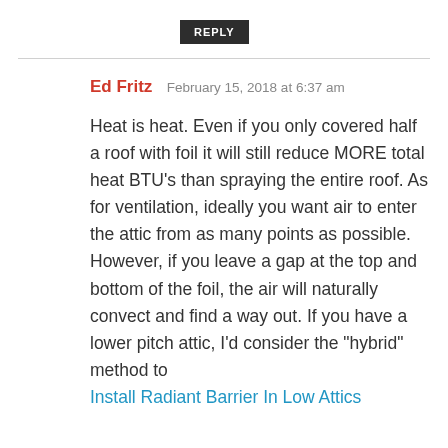REPLY
Ed Fritz  February 15, 2018 at 6:37 am
Heat is heat. Even if you only covered half a roof with foil it will still reduce MORE total heat BTU’s than spraying the entire roof. As for ventilation, ideally you want air to enter the attic from as many points as possible. However, if you leave a gap at the top and bottom of the foil, the air will naturally convect and find a way out. If you have a lower pitch attic, I’d consider the “hybrid” method to
Install Radiant Barrier In Low Attics